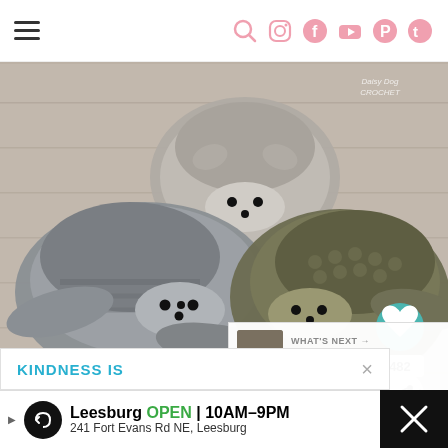Navigation header with hamburger menu and social icons (search, Instagram, Facebook, YouTube, Pinterest, Twitter)
[Figure (photo): Three crocheted hedgehog mittens/gloves arranged on a wooden surface — one light gray at top center, one medium gray at bottom left, one olive/brown at bottom right. Each has black button eyes and nose details. A watermark reading 'Daisy Dog Crochet' appears in upper right. Heart (482 saves) and share buttons appear on the right side.]
WHAT'S NEXT → Child Crochet Hedgehog...
KINDNESS IS
Leesburg  OPEN  10AM–9PM  241 Fort Evans Rd NE, Leesburg